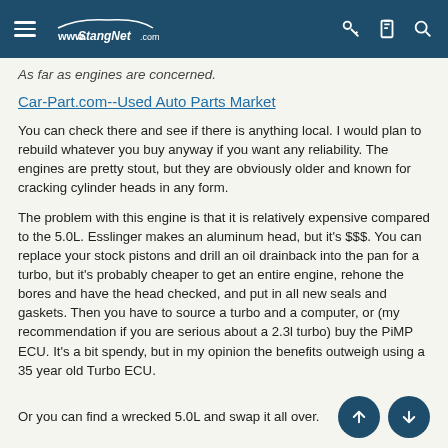StangNet.com
As far as engines are concerned.
Car-Part.com--Used Auto Parts Market
You can check there and see if there is anything local. I would plan to rebuild whatever you buy anyway if you want any reliability. The engines are pretty stout, but they are obviously older and known for cracking cylinder heads in any form.
The problem with this engine is that it is relatively expensive compared to the 5.0L. Esslinger makes an aluminum head, but it's $$$. You can replace your stock pistons and drill an oil drainback into the pan for a turbo, but it's probably cheaper to get an entire engine, rehone the bores and have the head checked, and put in all new seals and gaskets. Then you have to source a turbo and a computer, or (my recommendation if you are serious about a 2.3l turbo) buy the PiMP ECU. It's a bit spendy, but in my opinion the benefits outweigh using a 35 year old Turbo ECU.
Or you can find a wrecked 5.0L and swap it all over.